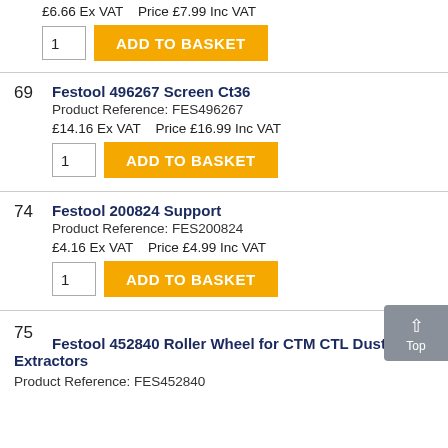£6.66 Ex VAT   Price £7.99 Inc VAT
1  ADD TO BASKET
69   Festool 496267 Screen Ct36
Product Reference: FES496267
£14.16 Ex VAT   Price £16.99 Inc VAT
1  ADD TO BASKET
74   Festool 200824 Support
Product Reference: FES200824
£4.16 Ex VAT   Price £4.99 Inc VAT
1  ADD TO BASKET
75
Festool 452840 Roller Wheel for CTM CTL Dust Extractors
Product Reference: FES452840